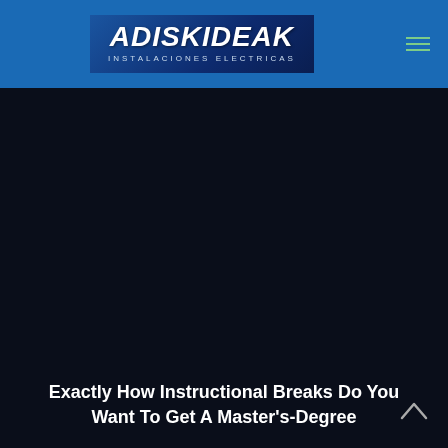[Figure (logo): Adiskideak Instalaciones Electricas logo — white bold italic text on dark blue gradient background with decorative swoosh lines]
Exactly How Instructional Breaks Do You Want To Get A Master's-Degree